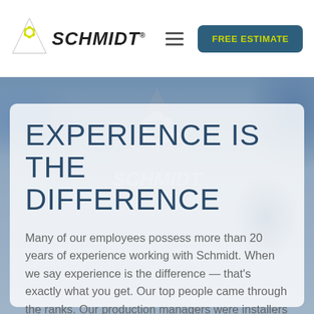[Figure (logo): Schmidt logo: yellow triangle with sun/leaf design above bold italic SCHMIDT. text]
[Figure (screenshot): Hamburger menu icon (three horizontal lines)]
[Figure (other): FREE ESTIMATE button in teal with yellow-green text]
[Figure (photo): Background photo showing denim fabric/jeans in blue tones with blurred elements]
EXPERIENCE IS THE DIFFERENCE
Many of our employees possess more than 20 years of experience working with Schmidt. When we say experience is the difference — that's exactly what you get. Our top people came through the ranks. Our production managers were installers and all of our salespeople came up as installers.